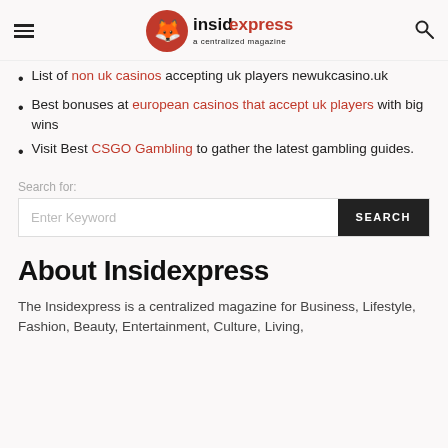insidexpress — a centralized magazine
List of non uk casinos accepting uk players newukcasino.uk
Best bonuses at european casinos that accept uk players with big wins
Visit Best CSGO Gambling to gather the latest gambling guides.
Search for:
Enter Keyword  SEARCH
About Insidexpress
The Insidexpress is a centralized magazine for Business, Lifestyle, Fashion, Beauty, Entertainment, Culture, Living,